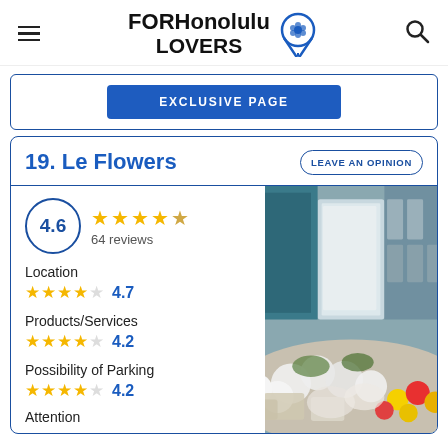FOR Honolulu LOVERS
EXCLUSIVE PAGE
19. Le Flowers
LEAVE AN OPINION
4.6 — 64 reviews
Location 4.7
Products/Services 4.2
Possibility of Parking 4.2
Attention
[Figure (photo): Photo of Le Flowers shop front showing flowers and floral arrangements]